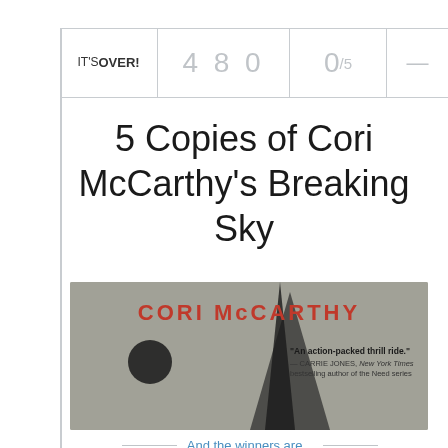IT'S OVER! | 480 | 0/5 | —
5 Copies of Cori McCarthy's Breaking Sky
[Figure (photo): Book cover banner for 'Breaking Sky' by Cori McCarthy, showing the author name in large red text on a textured gray background, with a quote: 'An action-packed thrill ride.' — CARRIE JONES, New York Times bestselling author of the Need series]
And the winners are...
Brandi D.